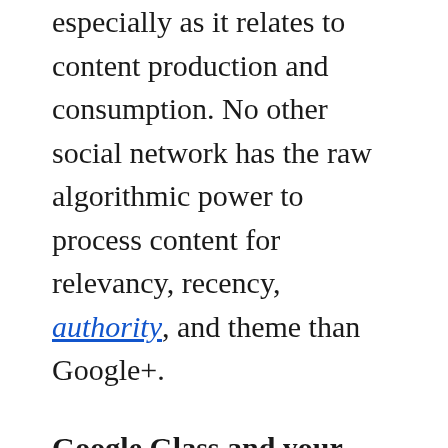especially as it relates to content production and consumption. No other social network has the raw algorithmic power to process content for relevancy, recency, authority, and theme than Google+.
Google Glass and your business
Do you think Google Glass will play an important role in content marketing?
Can you think of creative ways to use the new technology to benefit your business?
Join the discussion on Google+, and let us